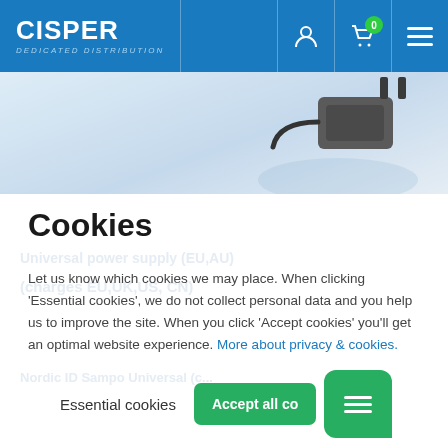CISPER DEDICATED DISTRIBUTION
[Figure (screenshot): Hero image area showing a black power adapter/charger on a light blue-grey gradient background]
Cookies
Let us know which cookies we may place. When clicking 'Essential cookies', we do not collect personal data and you help us to improve the site. When you click 'Accept cookies' you'll get an optimal website experience. More about privacy & cookies.